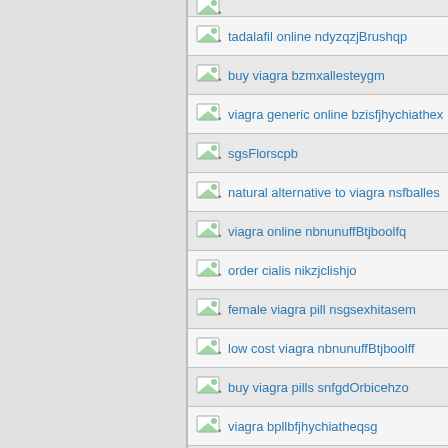(partial row top)
tadalafil online ndyzqzjBrushqp
buy viagra bzmxallesteygm
viagra generic online bzisfjhychiathe x
sgsFlorscpb
natural alternative to viagra nsfballes
viagra online nbnunuffBtjboolfq
order cialis nikzjclishjo
female viagra pill nsgsexhitasem
low cost viagra nbnunuffBtjboolff
buy viagra pills snfgdOrbicehzo
viagra bpllbfjhychiatheqsg
buy generic viagra ndyzqvzjBrushkt
tadalafil dosage bzhxmxallosteqlo (partial)